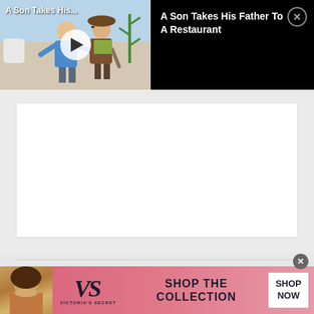[Figure (screenshot): Video player showing cartoon illustration of a son helping his father, with play button overlay. Title overlay reads 'A Son Takes His...']
A Son Takes His Father To A Restaurant
[Figure (screenshot): Gray content area with a white rectangular box placeholder]
[Figure (advertisement): Victoria's Secret advertisement banner with model photo, VS logo, 'SHOP THE COLLECTION' text, and 'SHOP NOW' button on pink gradient background]